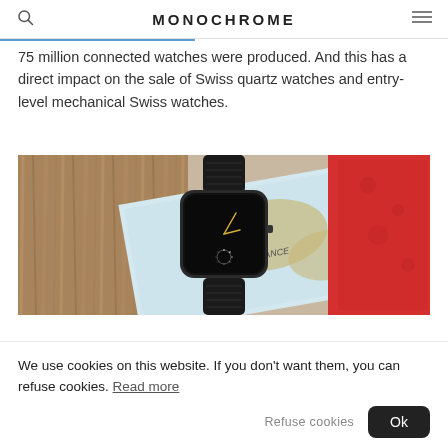MONOCHROME
75 million connected watches were produced. And this has a direct impact on the sale of Swiss quartz watches and entry-level mechanical Swiss watches.
[Figure (photo): A square smartwatch with a black crocodile-leather strap, placed on a map and a red surface over a wooden table. The watch face is dark/black with gold hands.]
We use cookies on this website. If you don't want them, you can refuse cookies. Read more
Refuse cookies  Ok